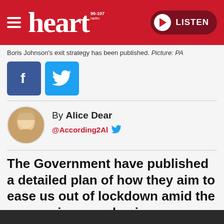heart 96-107 | LISTEN
Boris Johnson's exit strategy has been published. Picture: PA
[Figure (logo): Facebook share button (blue square with white F icon)]
[Figure (logo): Twitter share button (light blue square with white bird icon)]
[Figure (photo): Circular avatar photo of Alice Dear, blonde woman]
By Alice Dear
@According2Al
The Government have published a detailed plan of how they aim to ease us out of lockdown amid the coronavirus pandemic.
[Figure (photo): Bottom edge of a photo, dark strip]